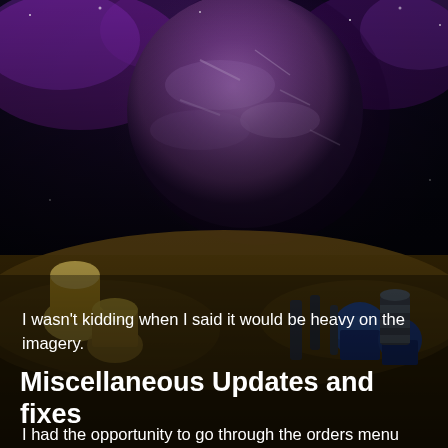[Figure (illustration): A dark space scene with a large purple/violet planet or moon visible in the upper portion, with dark clouds and rocky terrain visible below. The background is dark with cosmic imagery.]
I wasn't kidding when I said it would be heavy on the imagery.
Miscellaneous Updates and fixes
I had the opportunity to go through the orders menu and make everything have a tooltip and a hotkey. That was a bit of an undertaking, but the orders menu looks a lot nicer and uniform now, and hopefully it is more usable as well.
There were a lot of other little fixes here and there as